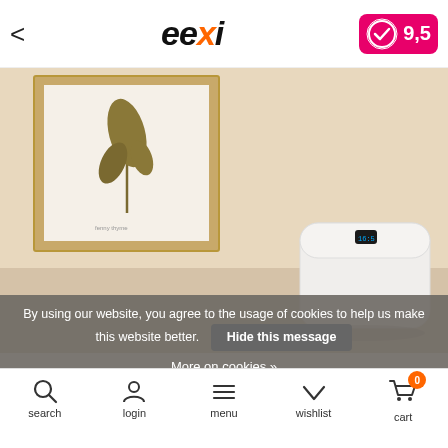eexi — navigation header with back arrow and rating badge 9,5
[Figure (photo): Product photo of a white smart pet feeder device on a beige/cream background, with a framed botanical print on the wall above it]
By using our website, you agree to the usage of cookies to help us make this website better.
Hide this message
More on cookies »
search  login  menu  wishlist  cart